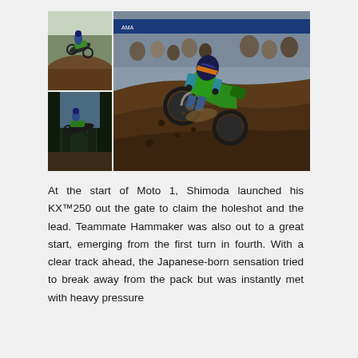[Figure (photo): Three motocross racing photos: top-left shows a rider on a green Kawasaki KX jumping over a dirt mound against a light sky; bottom-left shows another rider on a green Kawasaki jumping through trees; the large right photo shows a rider in green Kawasaki gear cornering hard through a dirt berm with spectators in the background and event banners visible.]
At the start of Moto 1, Shimoda launched his KX™250 out the gate to claim the holeshot and the lead. Teammate Hammaker was also out to a great start, emerging from the first turn in fourth. With a clear track ahead, the Japanese-born sensation tried to break away from the pack but was instantly met with heavy pressure